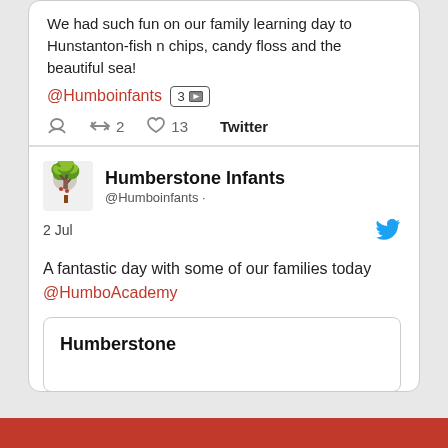We had such fun on our family learning day to Hunstanton-fish n chips, candy floss and the beautiful sea! @Humboinfants 3 [image]
reply 0  retweet 2  like 13  Twitter
Humberstone Infants @Humboinfants · 2 Jul
A fantastic day with some of our families today @HumboAcademy
Humberstone